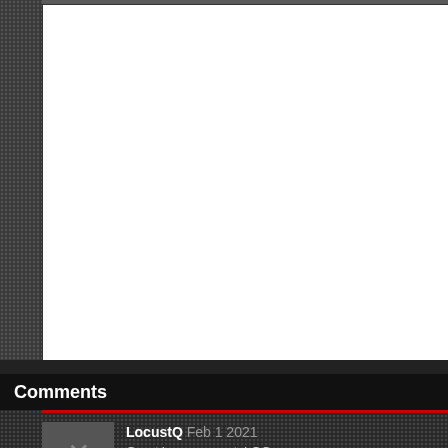[Figure (screenshot): Large white blank content area framed by dark textured border on the left side, representing a webpage or application main viewing panel]
Comments
LocustQ Feb 1 2021
Great improvements! GG